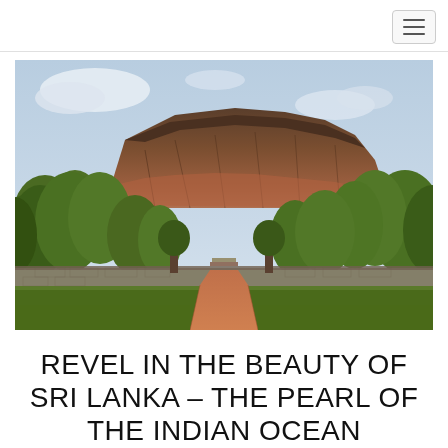[navigation bar with hamburger menu]
[Figure (photo): Photograph of Sigiriya Rock Fortress in Sri Lanka. A massive flat-topped rock formation rises above lush green tropical trees. A path leads toward the rock through formal gardens with stone walls in the foreground. The sky is partly cloudy.]
REVEL IN THE BEAUTY OF SRI LANKA – THE PEARL OF THE INDIAN OCEAN